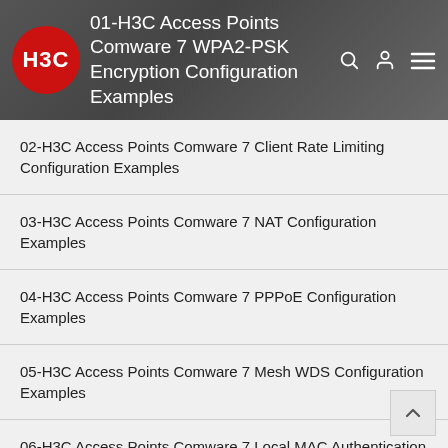01-H3C Access Points Comware 7 WPA2-PSK Encryption Configuration Examples
02-H3C Access Points Comware 7 Client Rate Limiting Configuration Examples
03-H3C Access Points Comware 7 NAT Configuration Examples
04-H3C Access Points Comware 7 PPPoE Configuration Examples
05-H3C Access Points Comware 7 Mesh WDS Configuration Examples
06-H3C Access Points Comware 7 Local MAC Authentication (IPv6) Configuration Examples
07-H3C Access Points Comware 7 IPv6 Configuration Examples
08-H3C Access Points Comware 7 ...